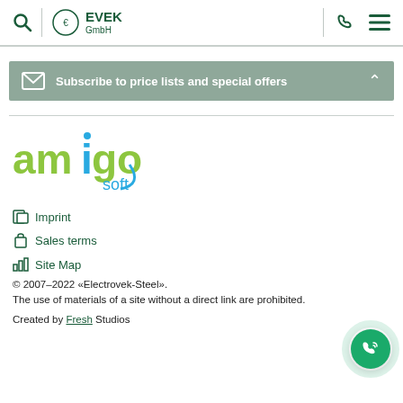EVEK GmbH — navigation header with search, logo, phone, and menu icons
Subscribe to price lists and special offers
[Figure (logo): Amigo Soft logo with colorful text]
Imprint
Sales terms
Site Map
© 2007–2022 «Electrovek-Steel».
The use of materials of a site without a direct link are prohibited.
Created by Fresh Studios